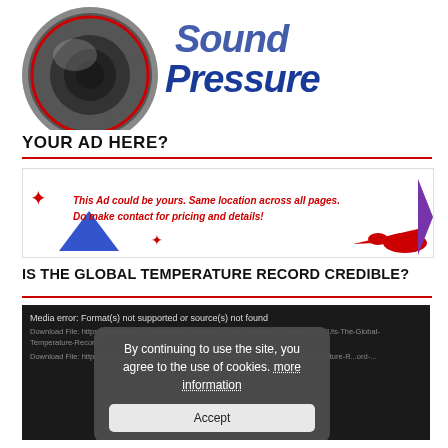[Figure (logo): Sound Pressure logo with speaker graphic and stylized blue/italic text 'Sound Pressure']
YOUR AD HERE?
[Figure (infographic): Ad banner: red italic text 'This Ad could be yours. Same location across all pages. Do make contact for pricing and details!' with decorative shapes including blue triangle, purple triangle, red arrow and blob shapes, plus sparkle stars]
IS THE GLOBAL TEMPERATURE RECORD CREDIBLE?
[Figure (screenshot): Dark media player area showing error: 'Media error: Format(s) not supported or source(s) not found' with download file links, overlaid by a cookie consent dialog saying 'By continuing to use the site, you agree to the use of cookies. more information' and an Accept button]